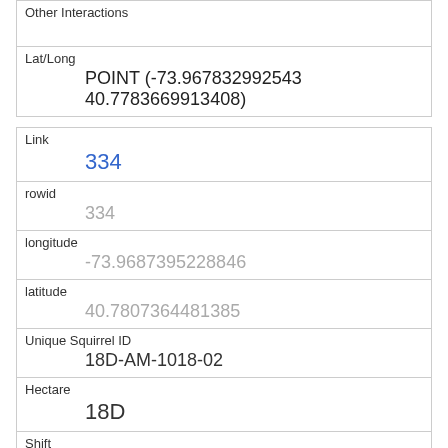| Other Interactions |  |
| Lat/Long | POINT (-73.967832992543 40.7783669913408) |
| Link | 334 |
| rowid | 334 |
| longitude | -73.9687395228846 |
| latitude | 40.7807364481385 |
| Unique Squirrel ID | 18D-AM-1018-02 |
| Hectare | 18D |
| Shift | AM |
| Date |  |